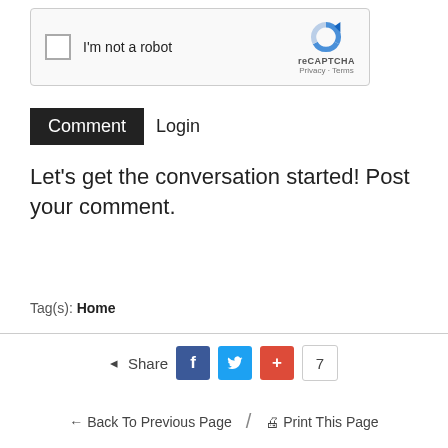[Figure (screenshot): reCAPTCHA widget with checkbox 'I'm not a robot' and reCAPTCHA logo with Privacy and Terms links]
Comment  Login
Let's get the conversation started! Post your comment.
Tag(s): Home
[Figure (infographic): Share buttons row: Share label, Facebook button (f), Twitter button (bird), Google+ button (+), count badge showing 7]
← Back To Previous Page / 🖨 Print This Page